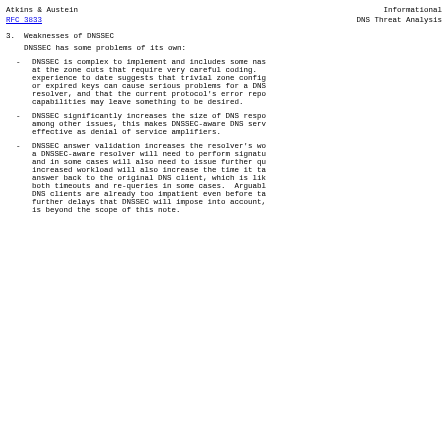Atkins & Austein                                        Informational
RFC 3833                          DNS Threat Analysis
3.  Weaknesses of DNSSEC
DNSSEC has some problems of its own:
DNSSEC is complex to implement and includes some nasty cases at the zone cuts that require very careful coding. Experience to date suggests that trivial zone configuration errors or expired keys can cause serious problems for a DNSSEC-aware resolver, and that the current protocol's error reporting capabilities may leave something to be desired.
DNSSEC significantly increases the size of DNS responses; among other issues, this makes DNSSEC-aware DNS servers more effective as denial of service amplifiers.
DNSSEC answer validation increases the resolver's workload: a DNSSEC-aware resolver will need to perform signature checks, and in some cases will also need to issue further queries. The increased workload will also increase the time it takes to get an answer back to the original DNS client, which is likely to cause both timeouts and re-queries in some cases. Arguably, many DNS clients are already too impatient even before taking the further delays that DNSSEC will impose into account, but this is beyond the scope of this note.